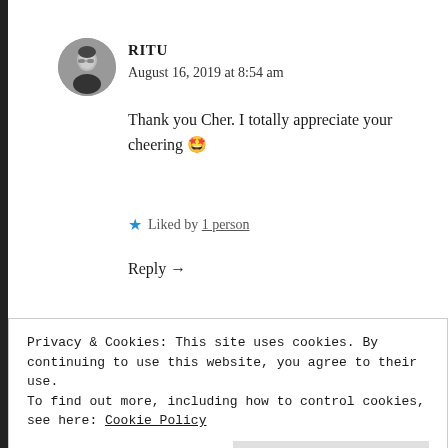[Figure (photo): Circular avatar photo of a person wearing glasses]
RITU
August 16, 2019 at 8:54 am
Thank you Cher. I totally appreciate your cheering 🤩
★ Liked by 1 person
Reply →
Privacy & Cookies: This site uses cookies. By continuing to use this website, you agree to their use.
To find out more, including how to control cookies, see here: Cookie Policy
Close and accept